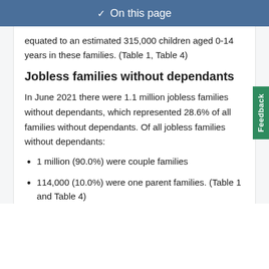On this page
equated to an estimated 315,000 children aged 0-14 years in these families. (Table 1, Table 4)
Jobless families without dependants
In June 2021 there were 1.1 million jobless families without dependants, which represented 28.6% of all families without dependants. Of all jobless families without dependants:
1 million (90.0%) were couple families
114,000 (10.0%) were one parent families. (Table 1 and Table 4)